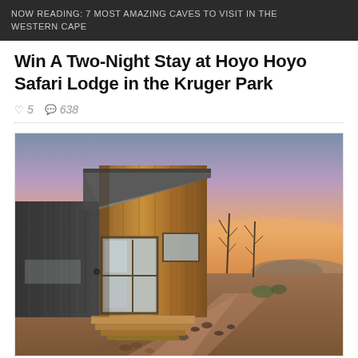NOW READING: 7 MOST AMAZING CAVES TO VISIT IN THE WESTERN CAPE
Win A Two-Night Stay at Hoyo Hoyo Safari Lodge in the Kruger Park
♡ 5  638
[Figure (photo): Exterior photo of a small modern wooden safari cabin/lodge at sunset, with wood cladding, glass windows, a small deck with steps, set in arid scrubland landscape with bare trees and a dramatic orange-purple sky in the background.]